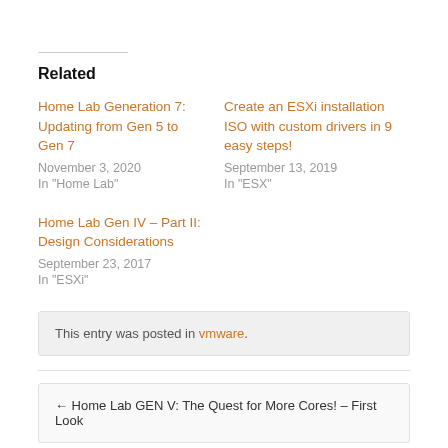Related
Home Lab Generation 7: Updating from Gen 5 to Gen 7
November 3, 2020
In "Home Lab"
Create an ESXi installation ISO with custom drivers in 9 easy steps!
September 13, 2019
In "ESX"
Home Lab Gen IV – Part II: Design Considerations
September 23, 2017
In "ESXi"
This entry was posted in vmware.
← Home Lab GEN V: The Quest for More Cores! – First Look